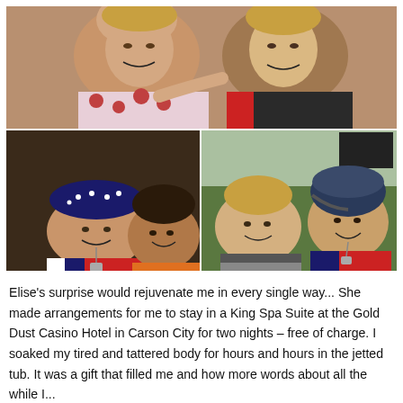[Figure (photo): Collage of three photos: top photo shows two women smiling closely together in a selfie; bottom-left shows a woman in an American flag bandana and a man in an orange shirt; bottom-right shows two women outdoors, one wearing a cycling helmet.]
Elise's surprise would rejuvenate me in every single way... She made arrangements for me to stay in a King Spa Suite at the Gold Dust Casino Hotel in Carson City for two nights – free of charge. I soaked my tired and tattered body for hours and hours in the jetted tub. It was a gift that fulfilled me and how more words about all the while I...